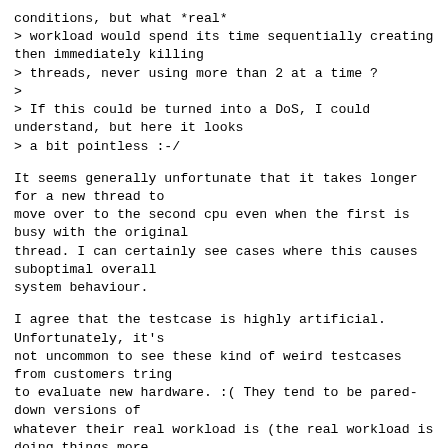conditions, but what *real*
> workload would spend its time sequentially creating then immediately killing
> threads, never using more than 2 at a time ?
>
> If this could be turned into a DoS, I could understand, but here it looks
> a bit pointless :-/
It seems generally unfortunate that it takes longer for a new thread to
move over to the second cpu even when the first is busy with the original
thread. I can certainly see cases where this causes suboptimal overall
system behaviour.
I agree that the testcase is highly artificial. Unfortunately, it's
not uncommon to see these kind of weird testcases from customers tring
to evaluate new hardware. :( They tend to be pared-down versions of
whatever their real workload is (the real workload is doing things more
appropriately, but the smaller version is used for testing). I was lucky
enough to get source snippets to base a standalone reproduction case on
for this, normally we wouldn't even get copies of their